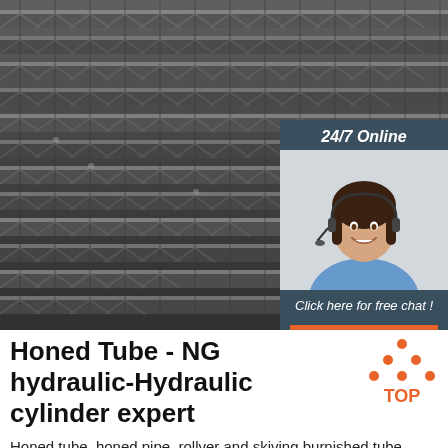[Figure (photo): Stack of steel angle iron bars viewed from the end, showing L-shaped cross-sections arranged in rows, dark metallic finish.]
[Figure (infographic): 24/7 Online chat widget with a smiling female customer service representative wearing a headset, 'Click here for free chat!' text, and an orange QUOTATION button.]
Honed Tube - NG hydraulic-Hydraulic cylinder expert
[Figure (logo): Orange TOP logo with triangle/mountain shape made of dots above the word TOP]
Honed tube, honed pipe, rollver and skiving burnished tube, seamless hydraulic pipe. Material ST52, SAE1020, SAE 4140, JD honed H8/H9...